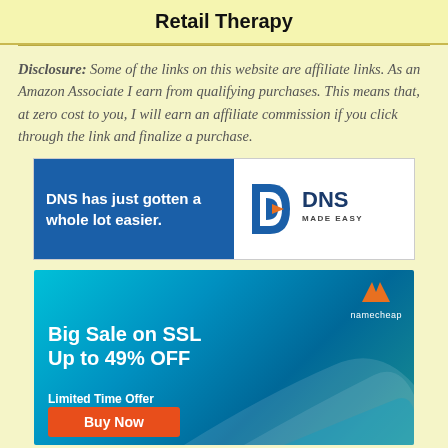Retail Therapy
Disclosure: Some of the links on this website are affiliate links. As an Amazon Associate I earn from qualifying purchases. This means that, at zero cost to you, I will earn an affiliate commission if you click through the link and finalize a purchase.
[Figure (advertisement): DNS Made Easy banner ad. Left panel: blue background with white text 'DNS has just gotten a whole lot easier.' Right panel: white background with DNS Made Easy logo (blue D-shaped icon with DNS MADE EASY text in navy).]
[Figure (advertisement): Namecheap banner ad with teal/blue gradient background. Orange Namecheap 'N' logo top right with 'namecheap' text. Bold white text: 'Big Sale on SSL Up to 49% OFF'. Subtext: 'Limited Time Offer'. Orange 'Buy Now' button at bottom left.]